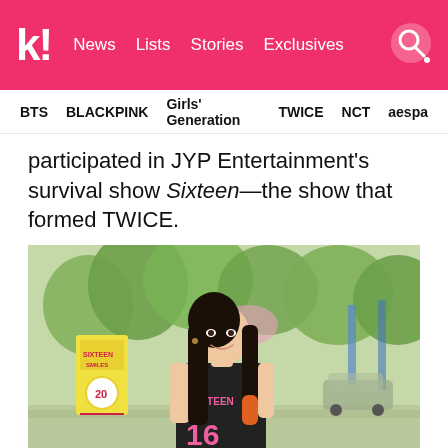k! News Lists Stories Exclusives
BTS BLACKPINK Girls' Generation TWICE NCT aespa
participated in JYP Entertainment's survival show Sixteen—the show that formed TWICE.
[Figure (photo): Young woman with long dark hair with orange tips, wearing a black basketball jersey that reads SIXTEEN 16 in pink letters, standing outdoors on a street lined with trees and a yellow banner sign. Photo taken during JYP Sixteen show.]